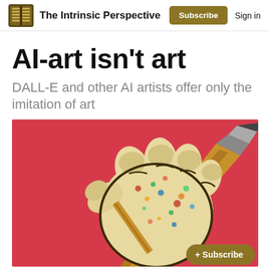The Intrinsic Perspective | Subscribe | Sign in
AI-art isn't art
DALL-E and other AI artists offer only the imitation of art
[Figure (illustration): A stylized illustration of a fist gripping a pencil/pen, depicted in a speckled cream and colorful paint-splatter style against a vivid red/crimson background. The hand holds the writing instrument diagonally. A golden Subscribe button overlay appears at the bottom right.]